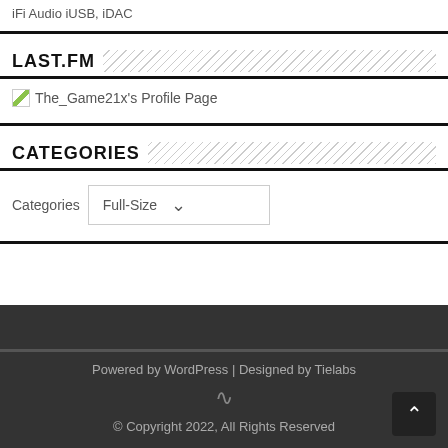iFi Audio iUSB, iDAC
LAST.FM
The_Game21x's Profile Page
CATEGORIES
Categories  Full-Size
Powered by WordPress | Designed by Tielabs
© Copyright 2022, All Rights Reserved